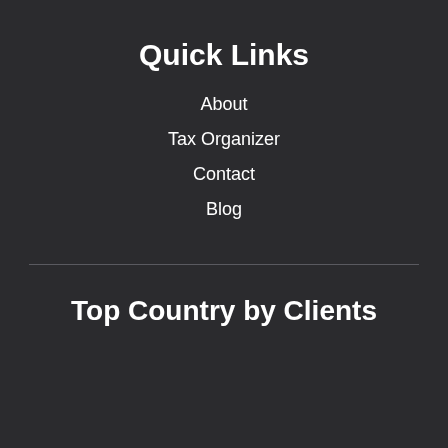Quick Links
About
Tax Organizer
Contact
Blog
Top Country by Clients